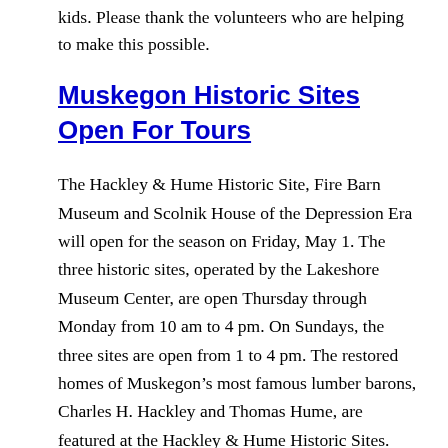kids. Please thank the volunteers who are helping to make this possible.
Muskegon Historic Sites Open For Tours
The Hackley & Hume Historic Site, Fire Barn Museum and Scolnik House of the Depression Era will open for the season on Friday, May 1. The three historic sites, operated by the Lakeshore Museum Center, are open Thursday through Monday from 10 am to 4 pm. On Sundays, the three sites are open from 1 to 4 pm. The restored homes of Muskegon's most famous lumber barons, Charles H. Hackley and Thomas Hume, are featured at the Hackley & Hume Historic Sites. Built in the late 1800s, they feature lavish wood carvings, stenciling, stained glass windows, and period furnishings.